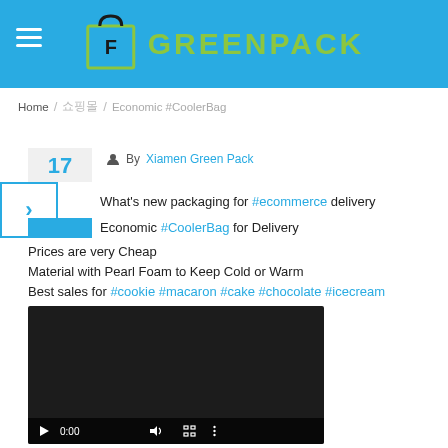[Figure (logo): Greenpack logo with shopping bag icon and green text on blue header bar]
Home / 쇼핑몰 / Economic #CoolerBag
By Xiamen Green Pack
What's new packaging for #ecommerce delivery
Economic #CoolerBag for Delivery
Prices are very Cheap
Material with Pearl Foam to Keep Cold or Warm
Best sales for #cookie #macaron #cake #chocolate #icecream Delivery
[Figure (screenshot): Video player thumbnail showing dark background with playback controls including play button, 0:00 timestamp, volume and fullscreen icons]